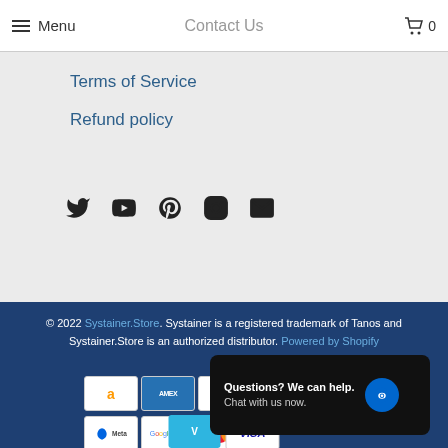Menu  Contact Us  0
Terms of Service
Refund policy
[Figure (infographic): Social media icons: Twitter, YouTube, Pinterest, Instagram, Email]
© 2022 Systainer.Store. Systainer is a registered trademark of Tanos and Systainer.Store is an authorized distributor. Powered by Shopify
[Figure (infographic): Payment method icons: Amazon, Amex, Apple Pay, Diners Club, Discover, Meta Pay, Google Pay, Mastercard, Venmo, Visa]
Questions? We can help. Chat with us now.